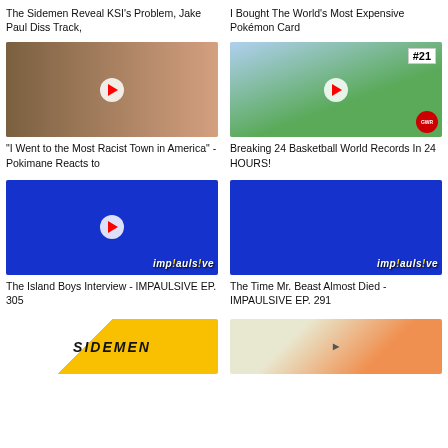The Sidemen Reveal KSI's Problem, Jake Paul Diss Track,
I Bought The World's Most Expensive Pokémon Card
[Figure (screenshot): Thumbnail: 'I Went to the Most Racist Town in America' - Pokimane Reacts to]
"I Went to the Most Racist Town in America" - Pokimane Reacts to
[Figure (screenshot): Thumbnail: Breaking 24 Basketball World Records In 24 HOURS! - person holding basketball blindfolded, #21 badge, Guinness World Record]
Breaking 24 Basketball World Records In 24 HOURS!
[Figure (screenshot): Thumbnail: The Island Boys Interview - IMPAULSIVE EP. 305 - Impaulsive podcast thumbnail with Island Boys and Logan Paul]
The Island Boys Interview - IMPAULSIVE EP. 305
[Figure (screenshot): Thumbnail: The Time Mr. Beast Almost Died - IMPAULSIVE EP. 291 - Impaulsive podcast with MrBeast and Logan Paul]
The Time Mr. Beast Almost Died - IMPAULSIVE EP. 291
[Figure (screenshot): Partial thumbnail: Sidemen logo thumbnail]
[Figure (screenshot): Partial thumbnail: group photo thumbnail]